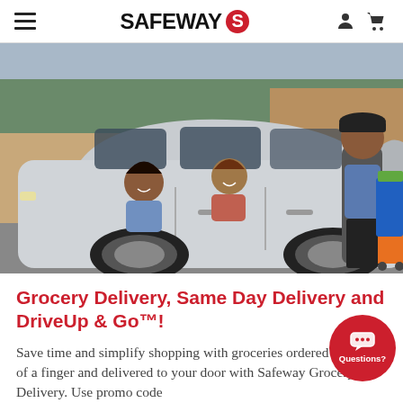SAFEWAY
[Figure (photo): A Safeway employee in a blue shirt and black cap loads groceries from a blue cart into the trunk of a silver SUV. Two women are visible inside the car looking back. The scene is in a parking lot outside a store.]
Grocery Delivery, Same Day Delivery and DriveUp & Go™!
Save time and simplify shopping with groceries ordered at the tap of a finger and delivered to your door with Safeway Grocery Delivery. Use promo code